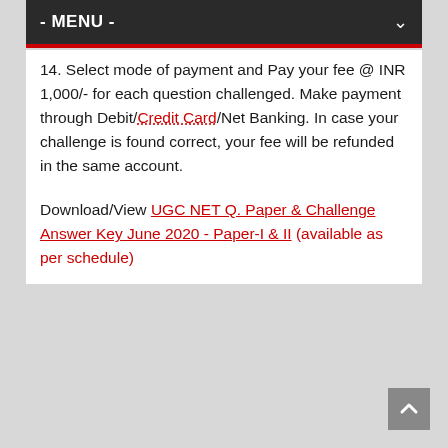- MENU -
14. Select mode of payment and Pay your fee @ INR 1,000/- for each question challenged. Make payment through Debit/Credit Card/Net Banking. In case your challenge is found correct, your fee will be refunded in the same account.
Download/View UGC NET Q. Paper & Challenge Answer Key June 2020 - Paper-I & II (available as per schedule)